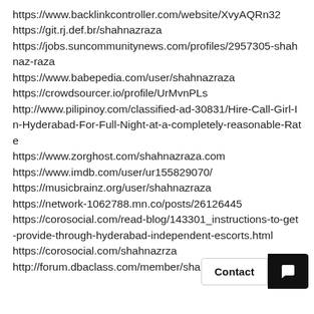https://www.backlinkcontroller.com/website/XvyAQRn32
https://git.rj.def.br/shahnazraza
https://jobs.suncommunitynews.com/profiles/2957305-shahnaz-raza
https://www.babepedia.com/user/shahnazraza
https://crowdsourcer.io/profile/UrMvnPLs
http://www.pilipinoy.com/classified-ad-30831/Hire-Call-Girl-In-Hyderabad-For-Full-Night-at-a-completely-reasonable-Rate
https://www.zorghost.com/shahnazraza.com
https://www.imdb.com/user/ur155829070/
https://musicbrainz.org/user/shahnazraza
https://network-1062788.mn.co/posts/26126445
https://corosocial.com/read-blog/143301_instructions-to-get-provide-through-hyderabad-independent-escorts.html
https://corosocial.com/shahnazrza
http://forum.dbaclass.com/member/shahnazraza/